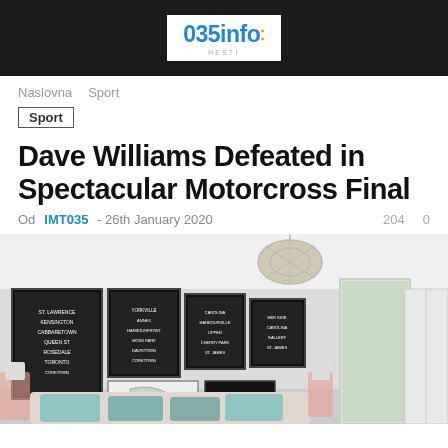035info
Naslovna  Sport
Sport
Dave Williams Defeated in Spectacular Motorcross Final
Od IMT035 - 26th January 2020   204   0
[Figure (photo): Interior bedroom photo with framed art prints on white wall, geometric pendant lamp, and decorative pillows]